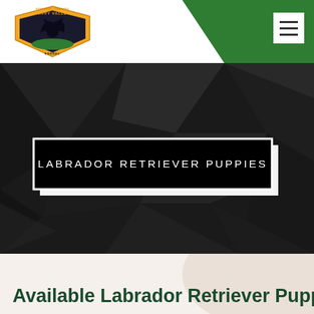[Figure (logo): Happy Valley Kennel shield logo with dog silhouette]
[Figure (screenshot): Navigation bar with green diagonal background and hamburger menu icon]
[Figure (photo): Dark geometric polygon background hero image with title overlay]
LABRADOR RETRIEVER PUPPIES
Available Labrador Retriever Puppies